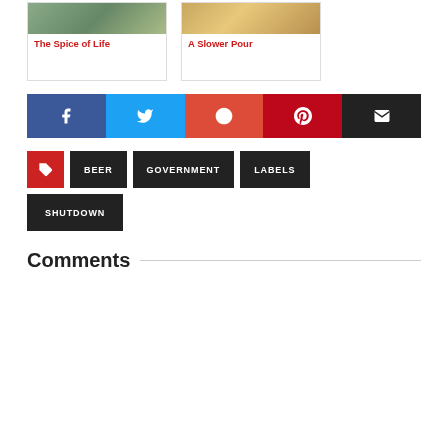[Figure (photo): Two article cards: 'The Spice of Life' with a food/kitchen photo, and 'A Slower Pour' with a beer/glass photo]
[Figure (infographic): Social sharing bar with Facebook, Twitter, Google+, Pinterest, and Email buttons]
BEER
GOVERNMENT
LABELS
SHUTDOWN
Comments